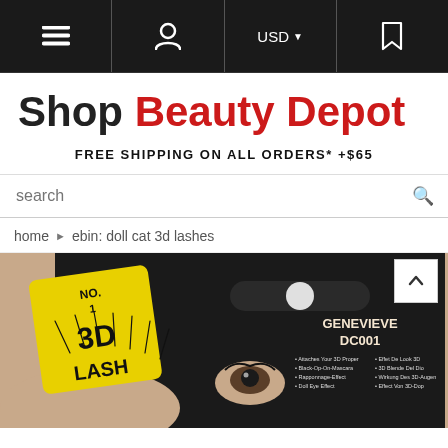[Figure (screenshot): Website navigation bar with hamburger menu, user icon, USD currency selector, and bookmark icon on dark background]
[Figure (logo): Shop Beauty Depot logo — 'Shop' in dark, 'Beauty Depot' in red stylized font]
FREE SHIPPING ON ALL ORDERS* +$65
search
home › ebin: doll cat 3d lashes
[Figure (photo): Product packaging for Ebin 3D Lash 'GENEVIEVE DC001' false eyelashes — black package with yellow NO.1 3D LASH badge, showing a close-up eye with lashes applied and product feature text]